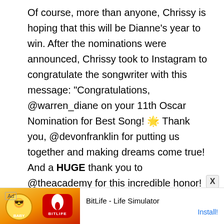Of course, more than anyone, Chrissy is hoping that this will be Dianne's year to win. After the nominations were announced, Chrissy took to Instagram to congratulate the songwriter with this message: “Congratulations, @warren_diane on your 11th Oscar Nomination for Best Song! 🌟 Thank you, @devonfranklin for putting us together and making dreams come true! And a HUGE thank you to @theacademy for this incredible honor!⚽♥️😭 @breakthroughmovie #imstandingwithyou.”
[Figure (other): Advertisement banner for BitLife - Life Simulator app with colorful game characters and red/orange background with BitLife logo]